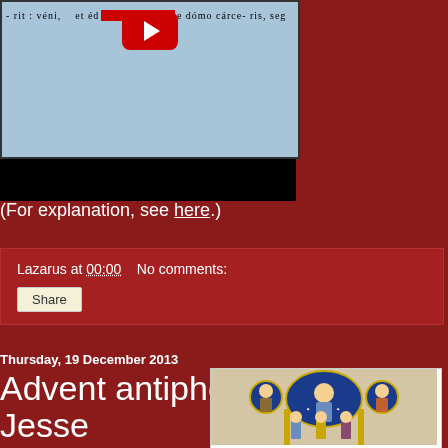[Figure (screenshot): Video thumbnail showing medieval music score with blue background and YouTube play button, black bar below]
(For explanation, see here.)
Lazarus at 00:00   No comments:
Share
Thursday, 19 December 2013
Advent antiphons: O Radix Jesse
[Figure (illustration): Medieval illuminated manuscript image showing Christ in mandorla surrounded by figures, blue and gold decorative border]